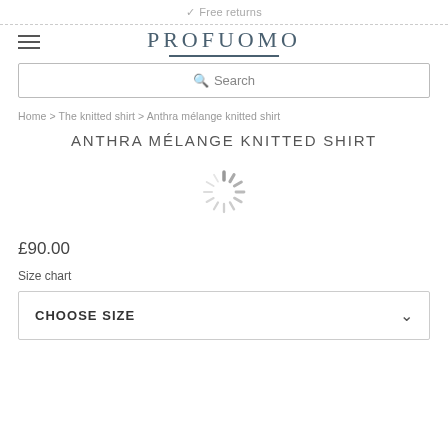✓ Free returns
PROFUOMO
Search
Home > The knitted shirt > Anthra mélange knitted shirt
ANTHRA MÉLANGE KNITTED SHIRT
[Figure (other): Loading spinner / activity indicator — a circular arrangement of dark grey lines forming a spinning wheel]
£90.00
Size chart
CHOOSE SIZE